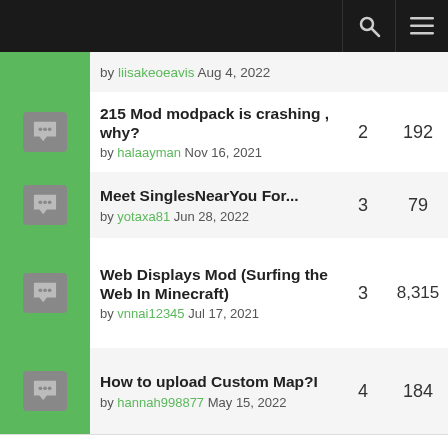Forum thread list header bar with search and menu icons
by liisakeoeavis Aug 4, 2022
215 Mod modpack is crashing , why? by halaayman Nov 16, 2021 — Replies: 2, Views: 192
Meet SinglesNearYou For... by yotaxa81 Jun 28, 2022 — Replies: 3, Views: 79
Web Displays Mod (Surfing the Web In Minecraft) by vnnai12345 Jul 17, 2021 — Replies: 3, Views: 8,315
How to upload Custom Map?I by hannah998877 May 15, 2022 — Replies: 4, Views: 184
My Game Keep Crashing! by jalfire_gaming May 9, 2021 — Replies: 9, Views: 2,739
CurseForge Notifier (partial)